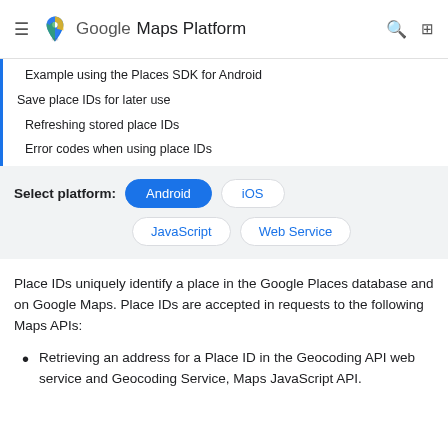Google Maps Platform
Example using the Places SDK for Android
Save place IDs for later use
Refreshing stored place IDs
Error codes when using place IDs
[Figure (other): Platform selector buttons: Android (active), iOS, JavaScript, Web Service]
Place IDs uniquely identify a place in the Google Places database and on Google Maps. Place IDs are accepted in requests to the following Maps APIs:
Retrieving an address for a Place ID in the Geocoding API web service and Geocoding Service, Maps JavaScript API.